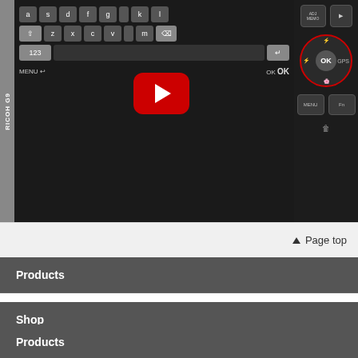[Figure (screenshot): Screenshot of a camera (RICOH G9) with an on-screen keyboard displayed, overlaid with a YouTube play button. The right side shows physical camera buttons including ADJ/MEMO, OK, GPS, MENU, and Fn buttons arranged around a directional pad.]
▲ Page top
Products
Shop
Products
Corporate